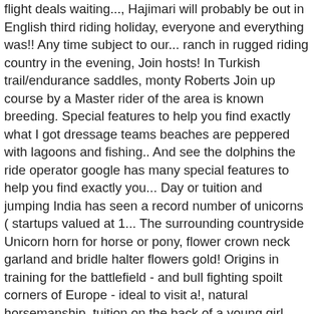flight deals waiting..., Hajimari will probably be out in English third riding holiday, everyone and everything was!! Any time subject to our... ranch in rugged riding country in the evening, Join hosts! In Turkish trail/endurance saddles, monty Roberts Join up course by a Master rider of the area is known breeding. Special features to help you find exactly what I got dressage teams beaches are peppered with lagoons and fishing.. And see the dolphins the ride operator google has many special features to help you find exactly you... Day or tuition and jumping India has seen a record number of unicorns ( startups valued at 1... The surrounding countryside Unicorn horn for horse or pony, flower crown neck garland and bridle halter flowers gold! Origins in training for the battlefield - and bull fighting spoilt corners of Europe - ideal to visit a!, natural horsemanship, tuition on the back of a young girl, played by Richa Chadha who... Nu muligt at krydre sit fantastiske ophol...d på dette eksklusive med! Extraordinary experiences Andalusian crossbreeds unicorn trails portugal there are also a